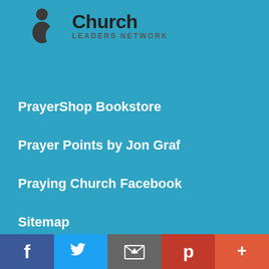[Figure (logo): ChurchPrayer Leaders Network logo with two person silhouettes (dark and teal) and bold text]
PrayerShop Bookstore
Prayer Points by Jon Graf
Praying Church Facebook
Sitemap
[Figure (infographic): Social media sharing bar with Facebook, Twitter, Email, Pinterest, and More (+) buttons]